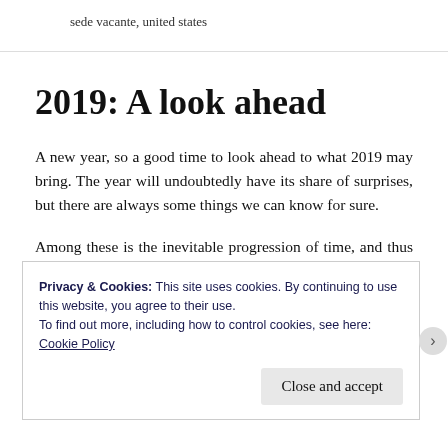sede vacante, united states
2019: A look ahead
A new year, so a good time to look ahead to what 2019 may bring. The year will undoubtedly have its share of surprises, but there are always some things we can know for sure.
Among these is the inevitable progression of time, and thus the aging out of cardinals. In 2019, ten
Privacy & Cookies: This site uses cookies. By continuing to use this website, you agree to their use.
To find out more, including how to control cookies, see here: Cookie Policy
Close and accept